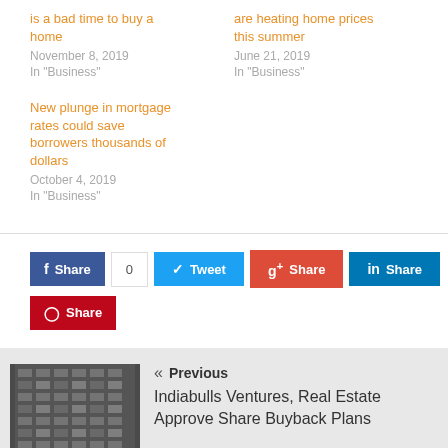is a bad time to buy a home
November 8, 2019
In "Business"
are heating home prices this summer
June 21, 2019
In "Business"
New plunge in mortgage rates could save borrowers thousands of dollars
October 4, 2019
In "Business"
Share 0 | Tweet | Share | Share | Share
« Previous
Indiabulls Ventures, Real Estate Approve Share Buyback Plans